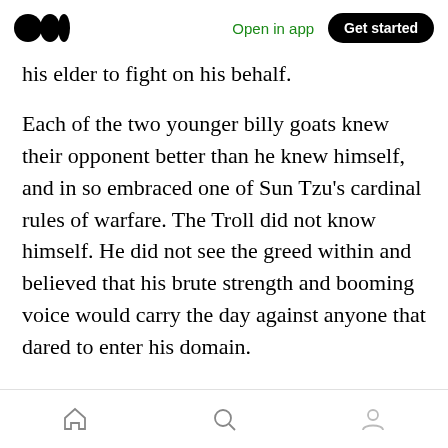Open in app | Get started
his elder to fight on his behalf.
Each of the two younger billy goats knew their opponent better than he knew himself, and in so embraced one of Sun Tzu's cardinal rules of warfare. The Troll did not know himself. He did not see the greed within and believed that his brute strength and booming voice would carry the day against anyone that dared to enter his domain.
The eldest of the three, Biggest Billy Goat Gruff, also knew himself and knew his strengths. He
Home | Search | Profile